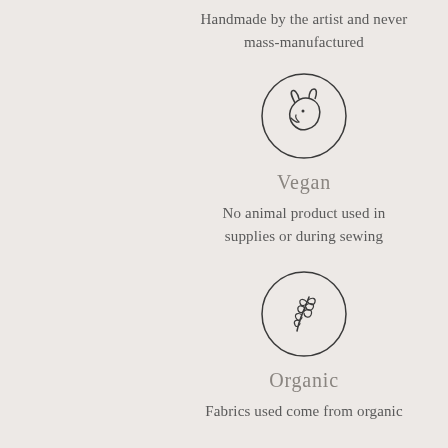Handmade by the artist and never mass-manufactured
[Figure (illustration): Circle outline containing a line-drawing of a fox or dog head profile, facing left]
Vegan
No animal product used in supplies or during sewing
[Figure (illustration): Circle outline containing a line-drawing of a botanical leaf/branch sprig]
Organic
Fabrics used come from organic